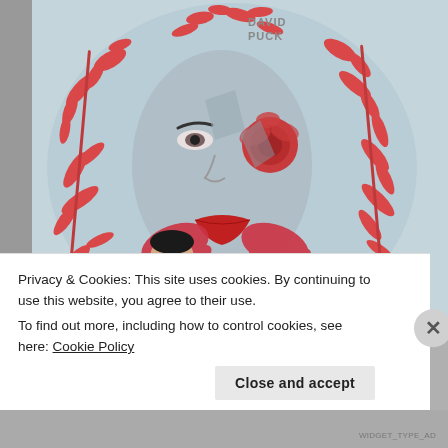[Figure (photo): A large mural by artist David Puck showing a stylized woman's face with red floral patterns on a light blue background, inside a large oval. A man stands in front of the mural posing.]
Privacy & Cookies: This site uses cookies. By continuing to use this website, you agree to their use.
To find out more, including how to control cookies, see here: Cookie Policy
Close and accept